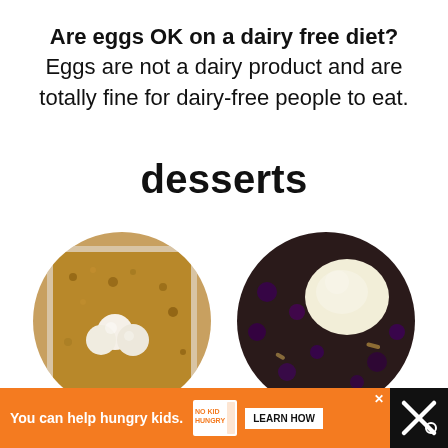Are eggs OK on a dairy free diet? Eggs are not a dairy product and are totally fine for dairy-free people to eat.
desserts
[Figure (photo): Two circular cropped food photos side by side: left shows a crumble dessert with scoops of ice cream in a white dish; right shows a dark berry crumble topped with a large scoop of vanilla ice cream.]
[Figure (infographic): Advertisement banner: orange background with text 'You can help hungry kids.' and No Kid Hungry logo and LEARN HOW button. Black background on right side with watermark.]